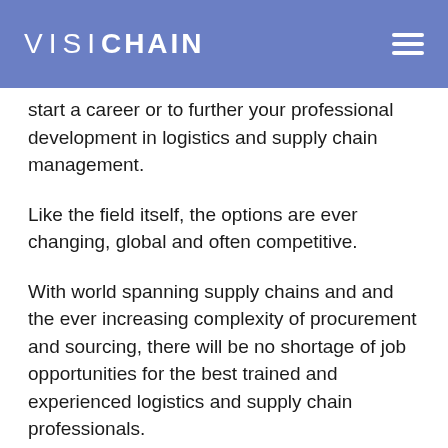VISICHAIN
start a career or to further your professional development in logistics and supply chain management.
Like the field itself, the options are ever changing, global and often competitive.
With world spanning supply chains and and the ever increasing complexity of procurement and sourcing, there will be no shortage of job opportunities for the best trained and experienced logistics and supply chain professionals.